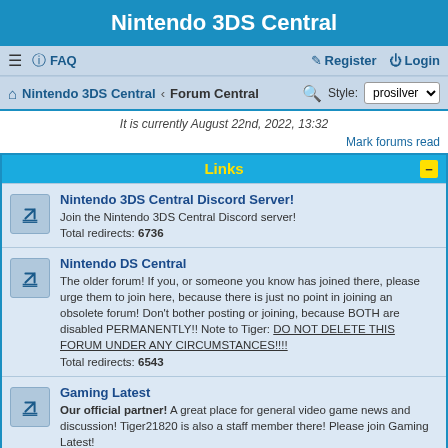Nintendo 3DS Central
≡  FAQ    Register  Login
Nintendo 3DS Central · Forum Central   Style: prosilver
It is currently August 22nd, 2022, 13:32
Mark forums read
Links
Nintendo 3DS Central Discord Server!
Join the Nintendo 3DS Central Discord server!
Total redirects: 6736
Nintendo DS Central
The older forum! If you, or someone you know has joined there, please urge them to join here, because there is just no point in joining an obsolete forum! Don't bother posting or joining, because BOTH are disabled PERMANENTLY!! Note to Tiger: DO NOT DELETE THIS FORUM UNDER ANY CIRCUMSTANCES!!!!
Total redirects: 6543
Gaming Latest
Our official partner! A great place for general video game news and discussion! Tiger21820 is also a staff member there! Please join Gaming Latest!
Total redirects: 15035
Wario Forums
Do you like Wario? Well then, you should join Wario Forums! That is also where Tiger21820's hack "Wario Land 2: The Master Quest" started out!